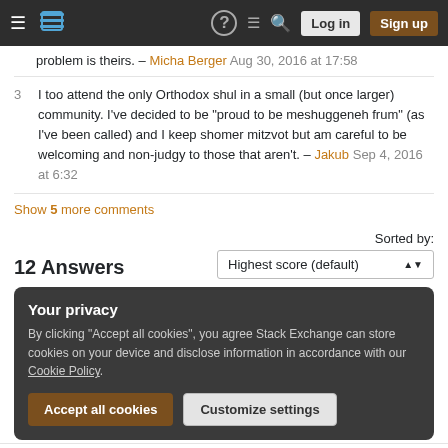Stack Exchange navigation bar with Log in and Sign up buttons
problem is theirs. – Micha Berger Aug 30, 2016 at 17:58
3 I too attend the only Orthodox shul in a small (but once larger) community. I've decided to be "proud to be meshuggeneh frum" (as I've been called) and I keep shomer mitzvot but am careful to be welcoming and non-judgy to those that aren't. – Jakub Sep 4, 2016 at 6:32
Show 5 more comments
12 Answers
Sorted by: Highest score (default)
Your privacy
By clicking "Accept all cookies", you agree Stack Exchange can store cookies on your device and disclose information in accordance with our Cookie Policy.
Accept all cookies   Customize settings